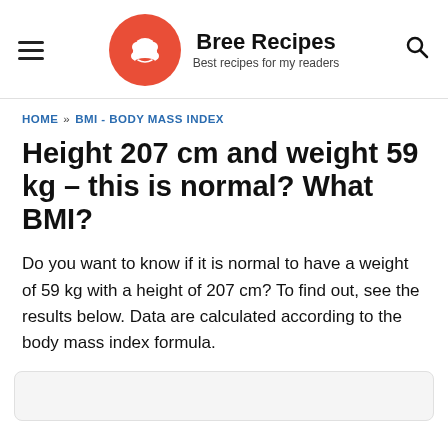Bree Recipes — Best recipes for my readers
HOME » BMI - BODY MASS INDEX
Height 207 cm and weight 59 kg – this is normal? What BMI?
Do you want to know if it is normal to have a weight of 59 kg with a height of 207 cm? To find out, see the results below. Data are calculated according to the body mass index formula.